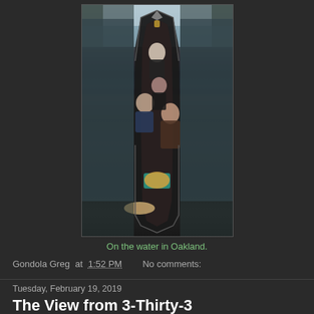[Figure (photo): Aerial/overhead view of a gondola on calm water in Oakland, with several passengers seated inside and a gondolier at the back. Water reflects surroundings. A straw hat and cushions visible in the foreground.]
On the water in Oakland.
Gondola Greg at 1:52 PM   No comments:
Tuesday, February 19, 2019
The View from 3-Thirty-3